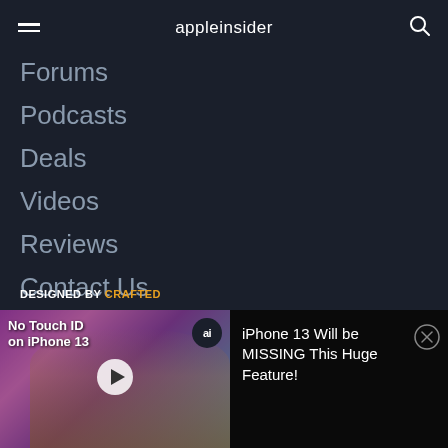appleinsider
Forums
Podcasts
Deals
Videos
Reviews
Contact Us
Advertise on AI
DESIGNED BY CRAFTED
[Figure (screenshot): Video thumbnail showing a man holding an iPhone with text 'No Touch ID on iPhone 13', with an 'ai' badge and play button overlay. Below the thumbnail: 'iPhone 13 Will be MISSING This Huge Feature!' with a close button.]